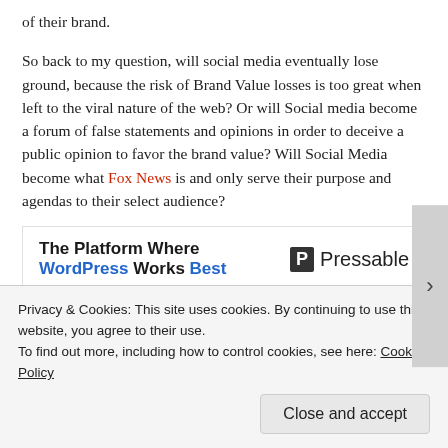of their brand.
So back to my question, will social media eventually lose ground, because the risk of Brand Value losses is too great when left to the viral nature of the web? Or will Social media become a forum of false statements and opinions in order to deceive a public opinion to favor the brand value? Will Social Media become what Fox News is and only serve their purpose and agendas to their select audience?
[Figure (other): Advertisement banner: 'The Platform Where WordPress Works Best' with Pressable logo]
I would love to hear your opinion on this? What is the Future
Privacy & Cookies: This site uses cookies. By continuing to use this website, you agree to their use.
To find out more, including how to control cookies, see here: Cookie Policy
Close and accept